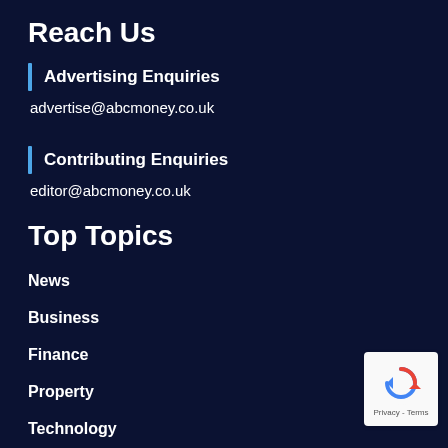Reach Us
Advertising Enquiries
advertise@abcmoney.co.uk
Contributing Enquiries
editor@abcmoney.co.uk
Top Topics
News
Business
Finance
Property
Technology
Investment
[Figure (logo): reCAPTCHA Privacy - Terms badge]